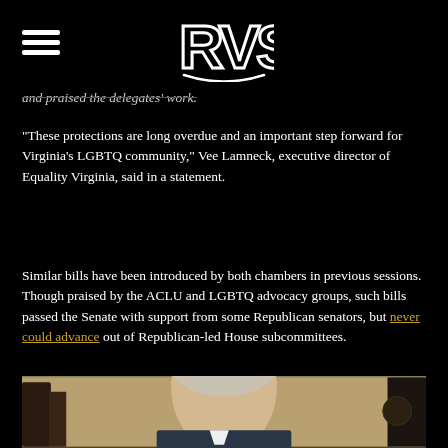RVS (logo with hamburger menu)
and praised the delegates' work.
“These protections are long overdue and an important step forward for Virginia’s LGBTQ community,” Vee Lamneck, executive director of Equality Virginia, said in a statement.
Similar bills have been introduced by both chambers in previous sessions. Though praised by the ACLU and LGBTQ advocacy groups, such bills passed the Senate with support from some Republican senators, but never could advance out of Republican-led House subcommittees.
[Figure (photo): Partial photo of a man in a suit, cropped at bottom of page]